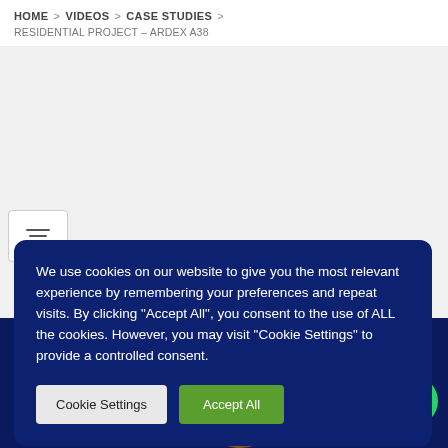HOME > VIDEOS > CASE STUDIES > RESIDENTIAL PROJECT – ARDEX A38
We use cookies on our website to give you the most relevant experience by remembering your preferences and repeat visits. By clicking "Accept All", you consent to the use of ALL the cookies. However, you may visit "Cookie Settings" to provide a controlled consent.
Cookie Settings | Accept All
[Figure (screenshot): Video thumbnail showing FAST-TRACK SCREEDING CASE STUDY text on dark navy background with circular image inset and ARDEX A38 branding]
Need Help? Chat with us